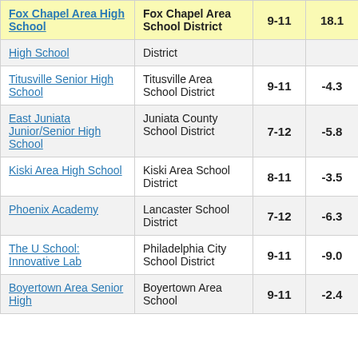| School | District | Grades | Score |  |
| --- | --- | --- | --- | --- |
| Fox Chapel Area High School | Fox Chapel Area School District | 9-11 | 18.1 |  |
| High School | District |  |  |  |
| Titusville Senior High School | Titusville Area School District | 9-11 | -4.3 |  |
| East Juniata Junior/Senior High School | Juniata County School District | 7-12 | -5.8 |  |
| Kiski Area High School | Kiski Area School District | 8-11 | -3.5 |  |
| Phoenix Academy | Lancaster School District | 7-12 | -6.3 |  |
| The U School: Innovative Lab | Philadelphia City School District | 9-11 | -9.0 |  |
| Boyertown Area Senior High | Boyertown Area School | 9-11 | -2.4 |  |